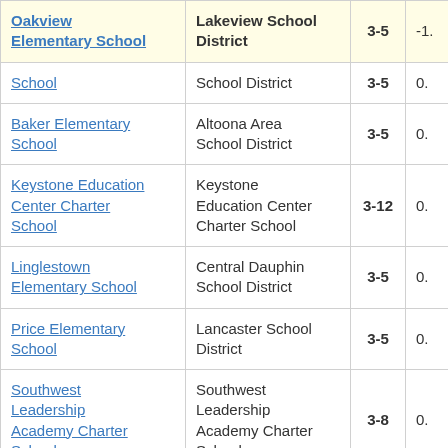| School | District | Grades | Score |
| --- | --- | --- | --- |
| Oakview Elementary School | Lakeview School District | 3-5 | -1. |
| School | School District | 3-5 | 0. |
| Baker Elementary School | Altoona Area School District | 3-5 | 0. |
| Keystone Education Center Charter School | Keystone Education Center Charter School | 3-12 | 0. |
| Linglestown Elementary School | Central Dauphin School District | 3-5 | 0. |
| Price Elementary School | Lancaster School District | 3-5 | 0. |
| Southwest Leadership Academy Charter School | Southwest Leadership Academy Charter School | 3-8 | 0. |
| Edgewood Elementary School | Ridley School District | 3-5 | 0. |